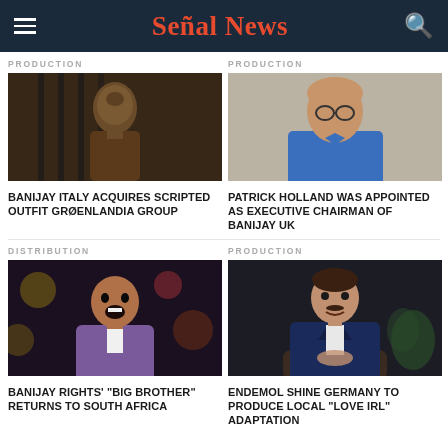Señal News
PRODUCTION
[Figure (photo): Person with head tilted back among metal bars/fence]
BANIJAY ITALY ACQUIRES SCRIPTED OUTFIT GRØENLANDIA GROUP
PRODUCTION
[Figure (photo): Bald man with glasses wearing blue shirt, standing against concrete wall]
PATRICK HOLLAND WAS APPOINTED AS EXECUTIVE CHAIRMAN OF BANIJAY UK
DISTRIBUTION
[Figure (photo): Man in purple suit laughing on stage with lights in background]
BANIJAY RIGHTS' "BIG BROTHER" RETURNS TO SOUTH AFRICA
PRODUCTION
[Figure (photo): Man in navy blazer smiling, seated, dark background]
ENDEMOL SHINE GERMANY TO PRODUCE LOCAL "LOVE IRL" ADAPTATION